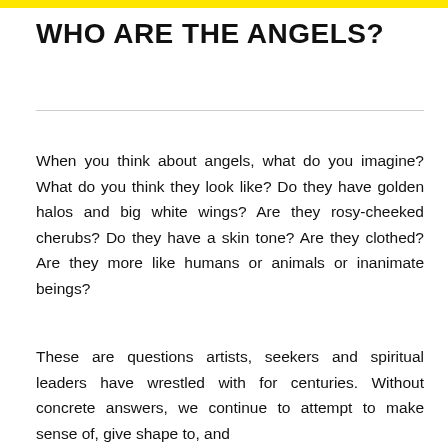WHO ARE THE ANGELS?
When you think about angels, what do you imagine? What do you think they look like? Do they have golden halos and big white wings? Are they rosy-cheeked cherubs? Do they have a skin tone? Are they clothed? Are they more like humans or animals or inanimate beings?
These are questions artists, seekers and spiritual leaders have wrestled with for centuries. Without concrete answers, we continue to attempt to make sense of, give shape to, and